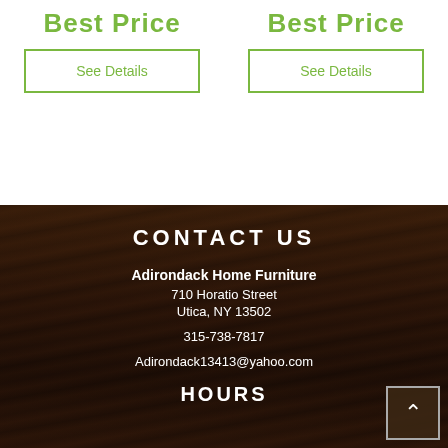Best Price
See Details
Best Price
See Details
CONTACT US
Adirondack Home Furniture
710 Horatio Street
Utica, NY 13502
315-738-7817
Adirondack13413@yahoo.com
HOURS